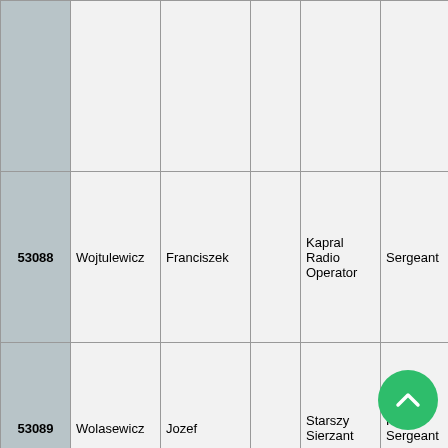| ID | Surname | First Name |  | Polish Rank / Role | RAF Rank | Service No. |
| --- | --- | --- | --- | --- | --- | --- |
|  |  |  |  |  |  |  |
| 53088 | Wojtulewicz | Franciszek |  | Kapral Radio Operator | Sergeant | P.705050 |
| 53089 | Wolasewicz | Jozef |  | Starszy Sierzant | Flight Sergeant | P.782784 |
| 53090 | Wolf | Wilfred Lawrence |  | Flight Sergeant |  | R? |